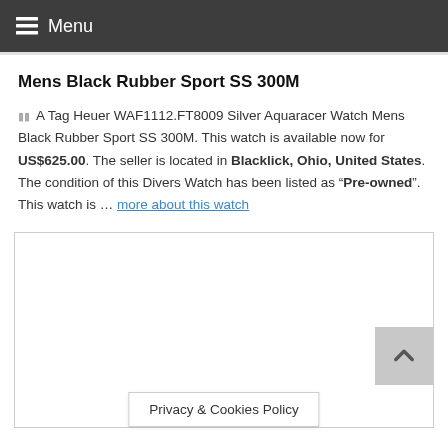Menu
Mens Black Rubber Sport SS 300M
A Tag Heuer WAF1112.FT8009 Silver Aquaracer Watch Mens Black Rubber Sport SS 300M. This watch is available now for US$625.00. The seller is located in Blacklick, Ohio, United States. The condition of this Divers Watch has been listed as "Pre-owned". This watch is … more about this watch
[Figure (photo): Product image placeholder area with scroll-to-top button and Privacy & Cookies Policy bar]